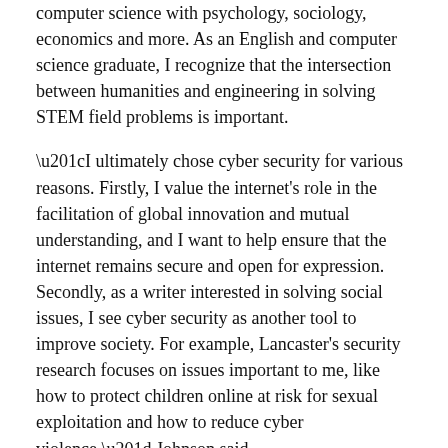computer science with psychology, sociology, economics and more. As an English and computer science graduate, I recognize that the intersection between humanities and engineering in solving STEM field problems is important.
“I ultimately chose cyber security for various reasons. Firstly, I value the internet’s role in the facilitation of global innovation and mutual understanding, and I want to help ensure that the internet remains secure and open for expression. Secondly, as a writer interested in solving social issues, I see cyber security as another tool to improve society. For example, Lancaster’s security research focuses on issues important to me, like how to protect children online at risk for sexual exploitation and how to reduce cyber violence,” Johnson said.
During her undergraduate studies at UK, Johnson was a member of the Lewis Honors College, president of the Graphite Creative Writing Association, and managing poetry editor and German language editor for Shale, the university’s undergraduate arts journal. A member of The